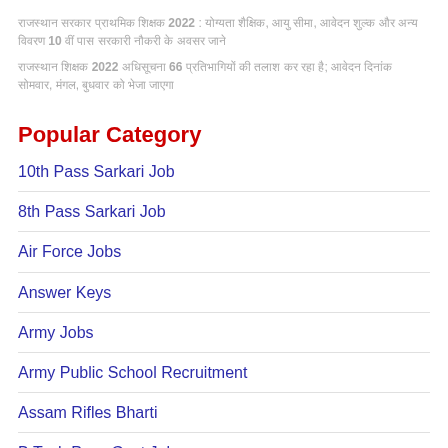राजस्थान सरकार प्राथमिक शिक्षक 2022 : योग्यता शैक्षिक, आयु सीमा, आवेदन शुल्क और अन्य विवरण 10 वीं पास सरकारी नौकरी के अवसर जाने
राजस्थान शिक्षक 2022 अधिसूचना 66 प्रतिभागियों की तलाश कर रहा है; आवेदन दिनांक सोमवार, मंगल, बुधवार को भेजा जाएगा
Popular Category
10th Pass Sarkari Job
8th Pass Sarkari Job
Air Force Jobs
Answer Keys
Army Jobs
Army Public School Recruitment
Assam Rifles Bharti
B.Tech Pass Govt Jobs
CRPF Recruitment